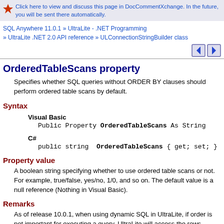Click here to view and discuss this page in DocCommentXchange. In the future, you will be sent there automatically.
SQL Anywhere 11.0.1 » UltraLite - .NET Programming » UltraLite .NET 2.0 API reference » ULConnectionStringBuilder class
OrderedTableScans property
Specifies whether SQL queries without ORDER BY clauses should perform ordered table scans by default.
Syntax
Visual Basic
Public Property OrderedTableScans As String
C#
public string  OrderedTableScans { get; set; }
Property value
A boolean string specifying whether to use ordered table scans or not. For example, true/false, yes/no, 1/0, and so on. The default value is a null reference (Nothing in Visual Basic).
Remarks
As of release 10.0.1, when using dynamic SQL in UltraLite, if order is not important for executing a query, UltraLite will access the rows directly from the database pages rather than using the primary key index. This improves performance of fetching rows. To use this